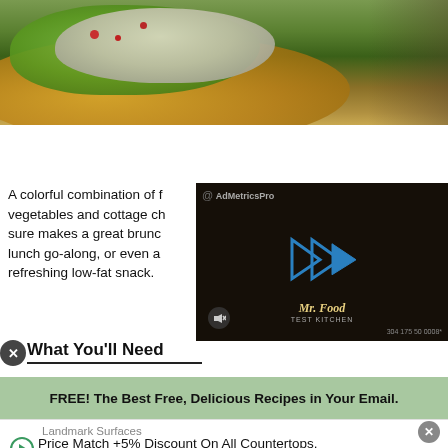[Figure (photo): Food photo showing a yellow plate with green lettuce leaves and a creamy chicken or cottage cheese salad with red bits, on a wooden surface]
A colorful combination of fresh vegetables and cottage ch... sure makes a great brunch lunch go-along, or even a refreshing low-fat snack.
[Figure (screenshot): Video player overlay showing Mr. Food Test Kitchen branding with blue play arrows logo, mute icon, and AdMetricsPro watermark]
What You'll Need
FREE! The Best Free, Delicious Recipes in Your Email.
Landmark Surfaces
Price Match +5% Discount On All Countertops. Transform Your Kitchen. Open Sundays.